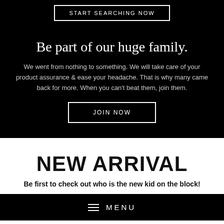START SEARCHING NOW
Be part of our huge family.
We went from nothing to something. We will take care of your product assurance & ease your headache. That is why many came back for more. When you can't beat them, join them.
JOIN NOW
NEW ARRIVAL
Be first to check out who is the new kid on the block!
MENU